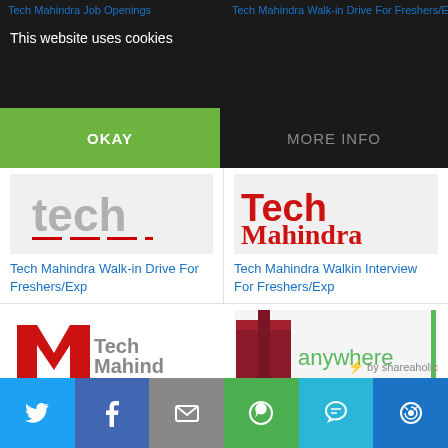Tech Mahindra Job Openings | Tech Mahindra Walk-in Drive For Freshers/Exp
This website uses cookies
OKAY
MORE INFO
[Figure (logo): Tech Mahindra logo (partially visible, grey text with red underline)]
Tech Mahindra Walk-in Drive For Freshers/Exp
[Figure (logo): Tech Mahindra logo with red M and grey text]
Tech Mahindra Walkin Interview For Freshers/Exp
[Figure (logo): Tech Mahindra IT Services and Telecom logo (partially cropped)]
Tech Mahindra Walkin Interview For Freshers 2016
[Figure (photo): Photo with gift/package and anywhere text in green]
Tech Mahindra Walkin Drive For Freshers/Exp
by shareaholic